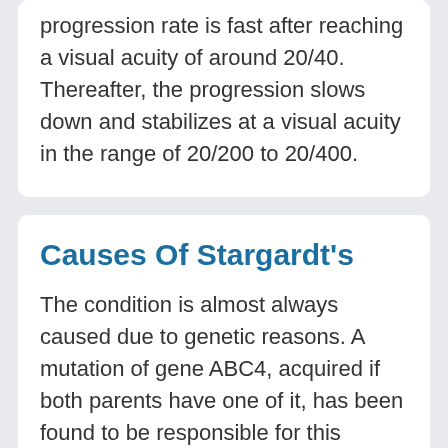progression rate is fast after reaching a visual acuity of around 20/40. Thereafter, the progression slows down and stabilizes at a visual acuity in the range of 20/200 to 20/400.
Causes Of Stargardt's
The condition is almost always caused due to genetic reasons. A mutation of gene ABC4, acquired if both parents have one of it, has been found to be responsible for this disease. ABC4 is